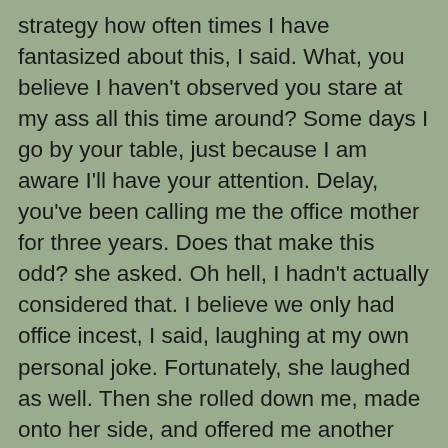strategy how often times I have fantasized about this, I said. What, you believe I haven't observed you stare at my ass all this time around? Some days I go by your table, just because I am aware I'll have your attention. Delay, you've been calling me the office mother for three years. Does that make this odd? she asked. Oh hell, I hadn't actually considered that. I believe we only had office incest, I said, laughing at my own personal joke. Fortunately, she laughed as well. Then she rolled down me, made onto her side, and offered me another long passionate kiss. Okay, therefore, we can not try this again, for several reasons. I simply desired to thank you if you are therefore special, and caring therefore significantly about me, but I do believe I may have let it Free Live Webcam escape hand. I promise this wasn't my intention, she said. Getting me long and hard again. I believe you're definitely proper, we positively shouldn't do this again. From now on, we should definitely go to at least one of our houses, or get an accommodation, I said with a laugh. You end it, I am being critical, she laughed. Reaching me in the shoulder playfully. One more extended kiss. We greater get up, before somebody guides in on us. We both remain up, and started gathering her clothes. She looks so beautiful